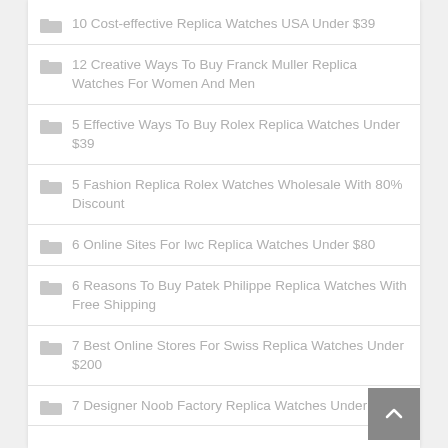10 Cost-effective Replica Watches USA Under $39
12 Creative Ways To Buy Franck Muller Replica Watches For Women And Men
5 Effective Ways To Buy Rolex Replica Watches Under $39
5 Fashion Replica Rolex Watches Wholesale With 80% Discount
6 Online Sites For Iwc Replica Watches Under $80
6 Reasons To Buy Patek Philippe Replica Watches With Free Shipping
7 Best Online Stores For Swiss Replica Watches Under $200
7 Designer Noob Factory Replica Watches Under $40